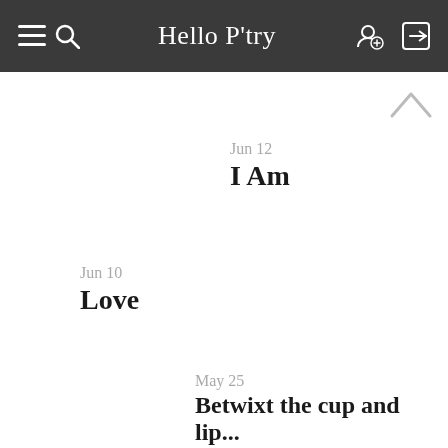Hello P'try
Jun 12 — I Am
Jun 10 — Love
May 25 — Betwixt the cup and lip...
May 23 — [partially visible]